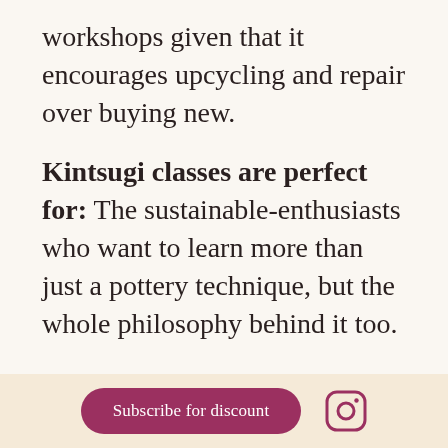workshops given that it encourages upcycling and repair over buying new.
Kintsugi classes are perfect for: The sustainable-enthusiasts who want to learn more than just a pottery technique, but the whole philosophy behind it too.
Subscribe for discount